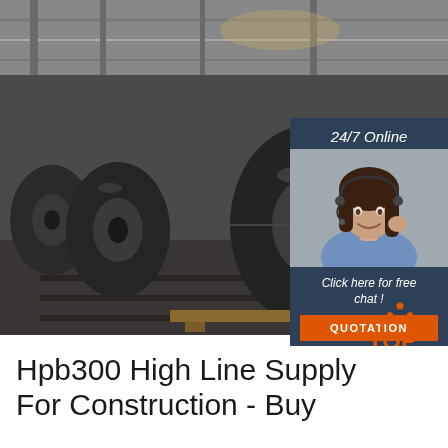[Figure (photo): Industrial warehouse interior showing large rolls of steel coil/wire rod on the floor, with overhead steel structure and lighting visible. Dark grey rolls stacked horizontally.]
[Figure (infographic): 24/7 Online chat widget overlay with dark blue background, showing a female customer service representative wearing a headset, text 'Click here for free chat!', and an orange QUOTATION button.]
[Figure (logo): TOP logo with orange triangle/dots above the word TOP in orange block letters]
Hpb300 High Line Supply For Construction - Buy